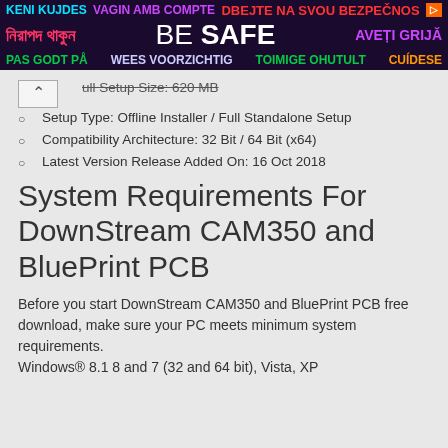[Figure (other): Advertisement banner with multilingual 'BE SAFE' text on dark purple background. Row 1: 'KENI KUJDES' (cyan), 'VAGIN AMB COMPTE' (purple), 'DBEJTE NA SVOU BEZPECNOST' (red) with orange arrow. Row 2: Bengali text (pink/red), 'BE SAFE' (white, large), 'AVETI GRIJA' (purple). Row 3: 'PAS GODT PA' (green), 'WEES VOORZICHTIG' (light purple), 'TOIMIGE OHUTULT' (green), 'CUIDESE' (orange).]
Full Setup Size: 620 MB (partial, struck through)
Setup Type: Offline Installer / Full Standalone Setup
Compatibility Architecture: 32 Bit / 64 Bit (x64)
Latest Version Release Added On: 16 Oct 2018
System Requirements For DownStream CAM350 and BluePrint PCB
Before you start DownStream CAM350 and BluePrint PCB free download, make sure your PC meets minimum system requirements.
Windows® 8.1 8 and 7 (32 and 64 bit), Vista, XP